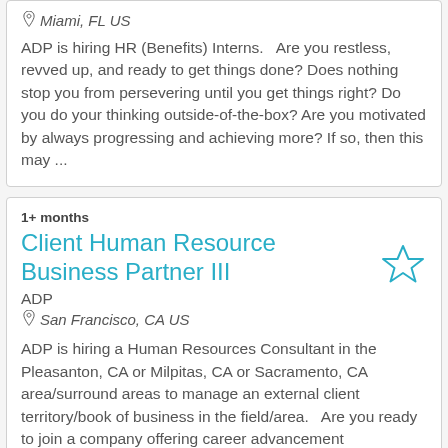Miami, FL US
ADP is hiring HR (Benefits) Interns.   Are you restless, revved up, and ready to get things done? Does nothing stop you from persevering until you get things right? Do you do your thinking outside-of-the-box? Are you motivated by always progressing and achieving more? If so, then this may ...
1+ months
Client Human Resource Business Partner III
ADP
San Francisco, CA US
ADP is hiring a Human Resources Consultant in the Pleasanton, CA or Milpitas, CA or Sacramento, CA area/surround areas to manage an external client territory/book of business in the field/area.   Are you ready to join a company offering career advancement opportunities throughout your career journe...